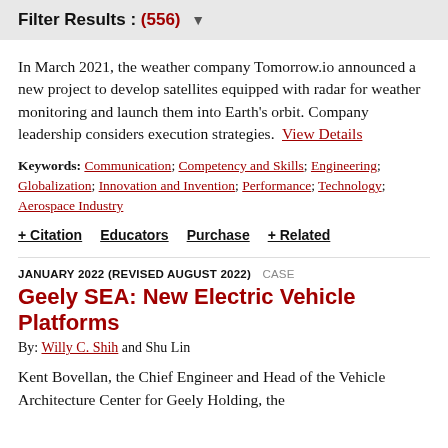Filter Results : (556) ▼
In March 2021, the weather company Tomorrow.io announced a new project to develop satellites equipped with radar for weather monitoring and launch them into Earth's orbit. Company leadership considers execution strategies. View Details
Keywords: Communication; Competency and Skills; Engineering; Globalization; Innovation and Invention; Performance; Technology; Aerospace Industry
+ Citation    Educators    Purchase    + Related
JANUARY 2022 (REVISED AUGUST 2022)  CASE
Geely SEA: New Electric Vehicle Platforms
By: Willy C. Shih and Shu Lin
Kent Bovellan, the Chief Engineer and Head of the Vehicle Architecture Center for Geely Holding, the